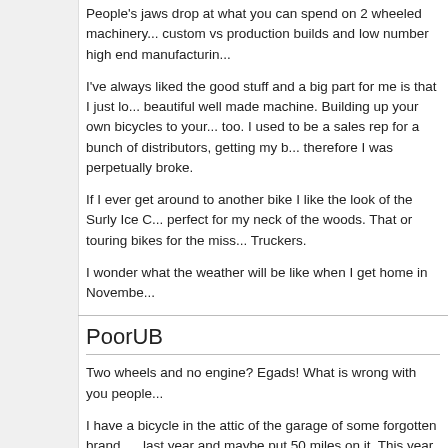People's jaws drop at what you can spend on 2 wheeled machinery... custom vs production builds and low number high end manufacturin...
I've always liked the good stuff and a big part for me is that I just lo... beautiful well made machine. Building up your own bicycles to your... too. I used to be a sales rep for a bunch of distributors, getting my b... therefore I was perpetually broke.
If I ever get around to another bike I like the look of the Surly Ice C... perfect for my neck of the woods. That or touring bikes for the miss... Truckers.
I wonder what the weather will be like when I get home in Novembe...
PoorUB
Two wheels and no engine? Egads! What is wrong with you people...
I have a bicycle in the attic of the garage of some forgotten brand, ... last year and maybe put 50 miles on it. This year it never saw day l... any real miles on, 3-4 miles at a time perhaps. I should get out and... ticker loosened up, but there always seems to be something else to... go for a bicycle ride, it is definitely good motorcycle weather!!
8ninety8